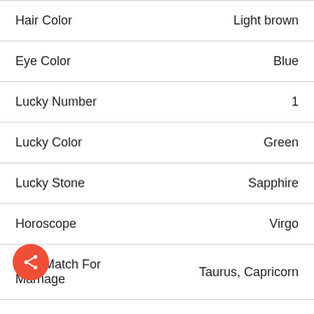| Property | Value |
| --- | --- |
| Hair Color | Light brown |
| Eye Color | Blue |
| Lucky Number | 1 |
| Lucky Color | Green |
| Lucky Stone | Sapphire |
| Horoscope | Virgo |
| Best Match For Marriage | Taurus, Capricorn |
| Twitter Profile | twitter |